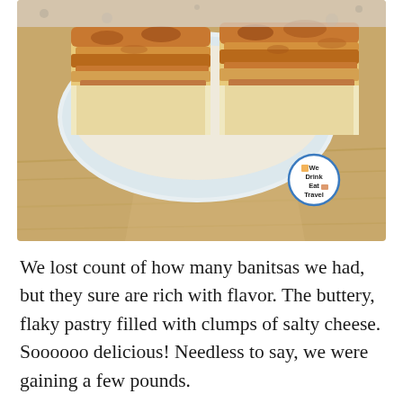[Figure (photo): Two pieces of golden-brown flaky banitsa pastry on a white plate, on a wooden table surface. A circular logo badge reads 'We Drink Eat Travel' with food icons.]
We lost count of how many banitsas we had, but they sure are rich with flavor. The buttery, flaky pastry filled with clumps of salty cheese. Soooooo delicious! Needless to say, we were gaining a few pounds.